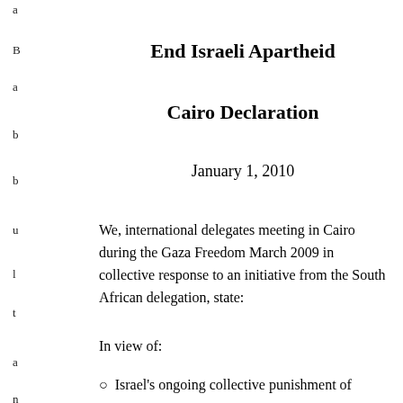End Israeli Apartheid
Cairo Declaration
January 1, 2010
We, international delegates meeting in Cairo during the Gaza Freedom March 2009 in collective response to an initiative from the South African delegation, state:
In view of:
Israel's ongoing collective punishment of